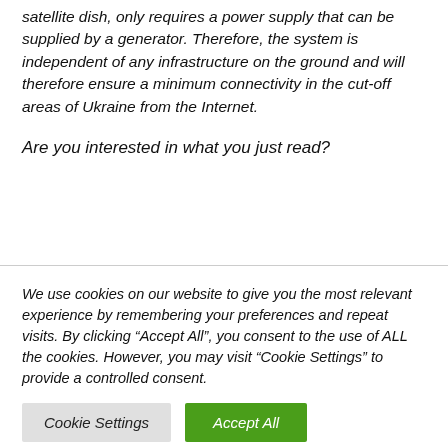satellite dish, only requires a power supply that can be supplied by a generator. Therefore, the system is independent of any infrastructure on the ground and will therefore ensure a minimum connectivity in the cut-off areas of Ukraine from the Internet.
Are you interested in what you just read?
We use cookies on our website to give you the most relevant experience by remembering your preferences and repeat visits. By clicking “Accept All”, you consent to the use of ALL the cookies. However, you may visit “Cookie Settings” to provide a controlled consent.